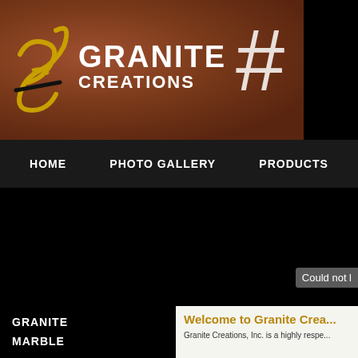[Figure (logo): Granite Creations logo with stylized GC icon on terracotta/brown granite texture background with hash symbol]
HOME   PHOTO GALLERY   PRODUCTS
[Figure (photo): Large black main content area, possibly failed to load image]
Could not load
GRANITE
MARBLE
Welcome to Granite Creations
Granite Creations, Inc. is a highly respected